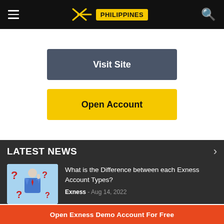Exness Philippines navigation bar
Visit Site
Open Account
LATEST NEWS
[Figure (photo): A person in blue suit with red tie surrounded by red question marks on a light blue background]
What is the Difference between each Exness Account Types?
Exness - Aug 14, 2022
Open Exness Demo Account For Free